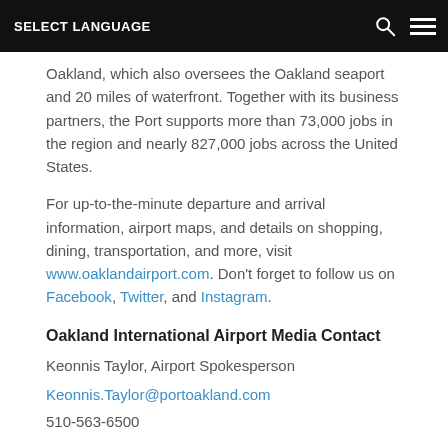SELECT LANGUAGE
Oakland, which also oversees the Oakland seaport and 20 miles of waterfront. Together with its business partners, the Port supports more than 73,000 jobs in the region and nearly 827,000 jobs across the United States.
For up-to-the-minute departure and arrival information, airport maps, and details on shopping, dining, transportation, and more, visit www.oaklandairport.com. Don't forget to follow us on Facebook, Twitter, and Instagram.
Oakland International Airport Media Contact
Keonnis Taylor, Airport Spokesperson
Keonnis.Taylor@portoakland.com
510-563-6500